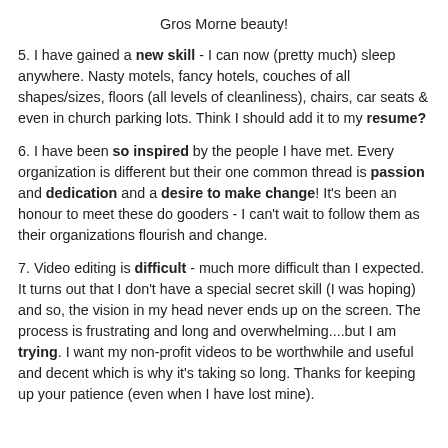Gros Morne beauty!
5. I have gained a new skill - I can now (pretty much) sleep anywhere. Nasty motels, fancy hotels, couches of all shapes/sizes, floors (all levels of cleanliness), chairs, car seats & even in church parking lots. Think I should add it to my resume?
6. I have been so inspired by the people I have met. Every organization is different but their one common thread is passion and dedication and a desire to make change! It's been an honour to meet these do gooders - I can't wait to follow them as their organizations flourish and change.
7. Video editing is difficult - much more difficult than I expected. It turns out that I don't have a special secret skill (I was hoping) and so, the vision in my head never ends up on the screen. The process is frustrating and long and overwhelming....but I am trying. I want my non-profit videos to be worthwhile and useful and decent which is why it's taking so long. Thanks for keeping up your patience (even when I have lost mine).